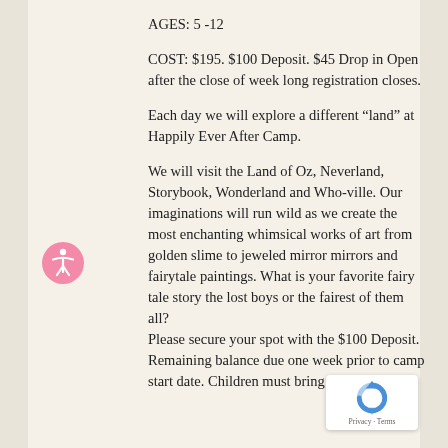AGES: 5 -12
COST: $195. $100 Deposit. $45 Drop in Open after the close of week long registration closes.
Each day we will explore a different “land” at Happily Ever After Camp.
We will visit the Land of Oz, Neverland, Storybook, Wonderland and Who-ville. Our imaginations will run wild as we create the most enchanting whimsical works of art from golden slime to jeweled mirror mirrors and fairytale paintings. What is your favorite fairy tale story the lost boys or the fairest of them all? Please secure your spot with the $100 Deposit. Remaining balance due one week prior to camp start date. Children must bring a snack, lunch,